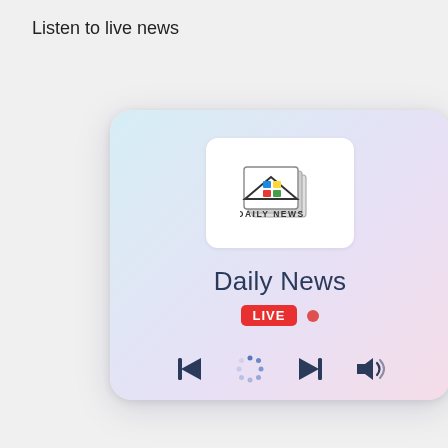Listen to live news
[Figure (screenshot): A music/radio player card UI showing the Daily News station with a logo (newspaper icon with colorful squares), the station name 'Daily News', a red LIVE badge with a red dot, and media controls (skip back, loading spinner, skip forward, volume icons) on a pastel gradient background.]